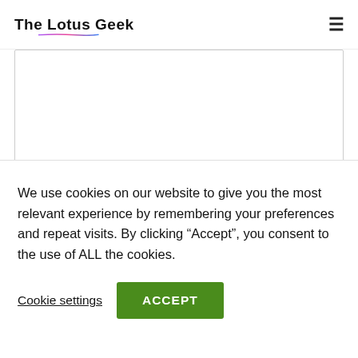The Lotus Geek
Name *
Email *
We use cookies on our website to give you the most relevant experience by remembering your preferences and repeat visits. By clicking “Accept”, you consent to the use of ALL the cookies.
Cookie settings
ACCEPT